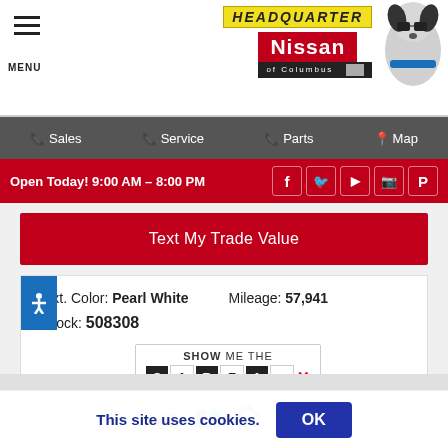HEADQUARTER Nissan of Columbus
☰ MENU
📞 Sales  📞 Service  📞 Parts  📍 Map
Open Today! 9:00 AM – 8:00 PM
Text My Trade Value
Ext. Color: Pearl White    Mileage: 57,941
Stock: 508308
[Figure (logo): SHOW ME THE CARFAX logo with letter blocks]
[Figure (infographic): Four history icons: car/key, people, house, wrench]
This site uses cookies.
OK